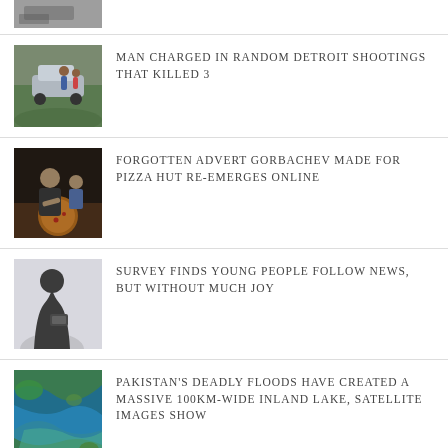[Figure (photo): Partial view of top news item thumbnail showing a car scene]
[Figure (photo): Photo of people standing outdoors near a car]
MAN CHARGED IN RANDOM DETROIT SHOOTINGS THAT KILLED 3
[Figure (photo): Photo of an older man at a table with food, possibly pizza]
FORGOTTEN ADVERT GORBACHEV MADE FOR PIZZA HUT RE-EMERGES ONLINE
[Figure (photo): Silhouette of a person looking at a phone or tablet]
SURVEY FINDS YOUNG PEOPLE FOLLOW NEWS, BUT WITHOUT MUCH JOY
[Figure (photo): Satellite image showing blue-green colors of flooded area]
PAKISTAN'S DEADLY FLOODS HAVE CREATED A MASSIVE 100KM-WIDE INLAND LAKE, SATELLITE IMAGES SHOW
[Figure (photo): Partial view of bottom news item thumbnail]